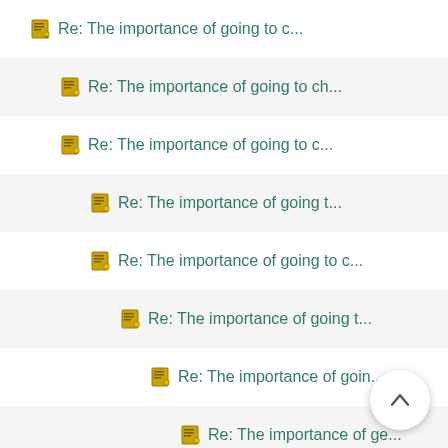Re: The importance of going to c...
Re: The importance of going to ch...
Re: The importance of going to c...
Re: The importance of going t...
Re: The importance of going to c...
Re: The importance of going t...
Re: The importance of goin...
Re: The importance of ge...
Re: The importance of...
Re: The importance...
church...